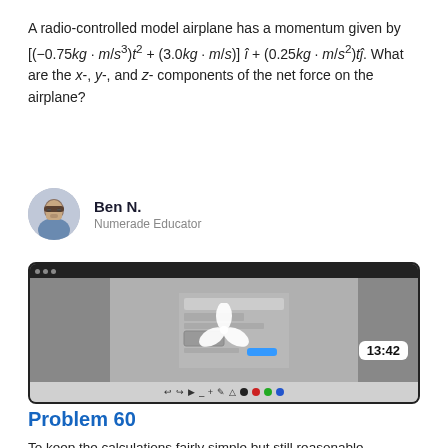A radio-controlled model airplane has a momentum given by [(-0.75kg·m/s³)t² + (3.0kg·m/s)] î + (0.25kg·m/s²)tĵ. What are the x-, y-, and z-components of the net force on the airplane?
Ben N.
Numerade Educator
[Figure (screenshot): A screenshot of a video player showing a web browser with content, a spinning loader icon overlay, a time stamp of 13:42, and a toolbar at the bottom with drawing and color tools.]
Problem 60
To keep the calculations fairly simple but still reasonable,